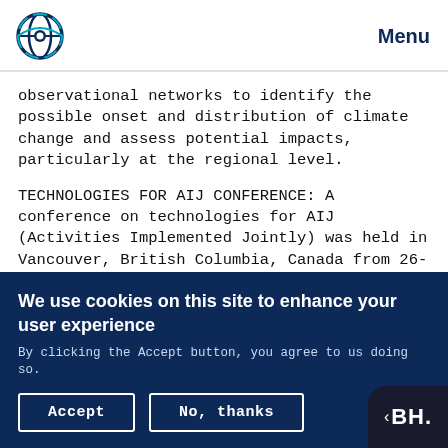Menu
observational networks to identify the possible onset and distribution of climate change and assess potential impacts, particularly at the regional level.
TECHNOLOGIES FOR AIJ CONFERENCE: A conference on technologies for AIJ (Activities Implemented Jointly) was held in Vancouver, British Columbia, Canada from 26-29 May 1997.
We use cookies on this site to enhance your user experience
By clicking the Accept button, you agree to us doing so.